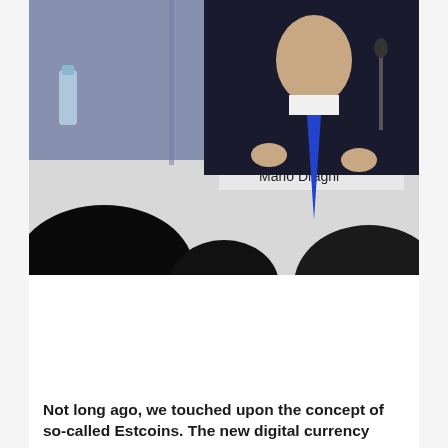[Figure (photo): Photo of Mario Draghi at a press conference podium. A name placard reading 'Mario Draghi' is visible. He is wearing a dark suit with a blue tie, gesturing with his hands. Silhouettes of audience members appear in the foreground.]
Not long ago, we touched upon the concept of so-called Estcoins. The new digital currency